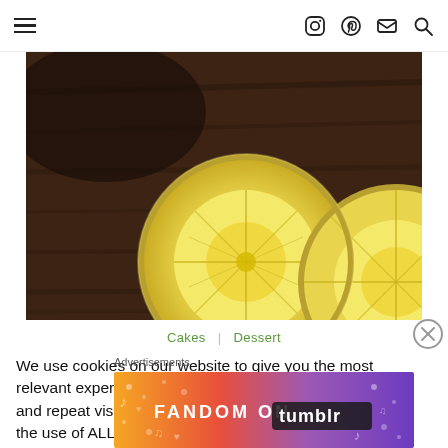≡  [Instagram] [Pinterest] [Mail] [Search]
[Figure (photo): Close-up photo of two halved lemons on a dark wooden cutting board, showing yellow citrus flesh and segments]
Cakes  |  Dessert
We use cookies on our website to give you the most relevant experience by remembering your preferences and repeat visits. By clicking "Accept All", you consent to the use of ALL the cookies. However, you may visit "Cookie Settings" to provide a controlled consent.
Advertisements
[Figure (screenshot): Colorful advertisement banner for FANDOM ON tumblr with gradient background from orange to purple, featuring decorative musical and heart icons]